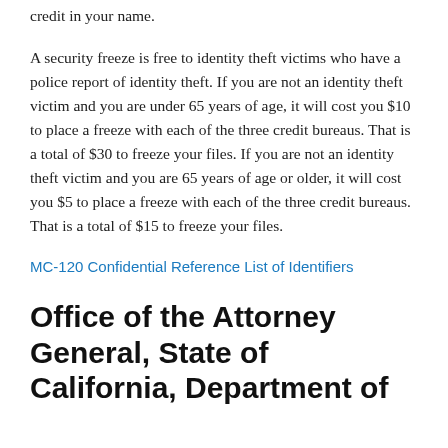credit in your name.
A security freeze is free to identity theft victims who have a police report of identity theft. If you are not an identity theft victim and you are under 65 years of age, it will cost you $10 to place a freeze with each of the three credit bureaus. That is a total of $30 to freeze your files. If you are not an identity theft victim and you are 65 years of age or older, it will cost you $5 to place a freeze with each of the three credit bureaus. That is a total of $15 to freeze your files.
MC-120 Confidential Reference List of Identifiers
Office of the Attorney General, State of California, Department of